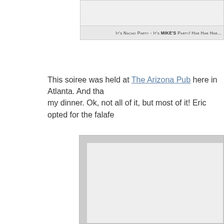[Figure (photo): Top image box, partially visible, light gray background]
It's Nacho Party - It's MIKE'S Party! Har Har Har...
This soiree was held at The Arizona Pub here in Atlanta. And tha... my dinner. Ok, not all of it, but most of it! Eric opted for the falafe...
[Figure (photo): Large image box, light gray background, mostly empty/loading]